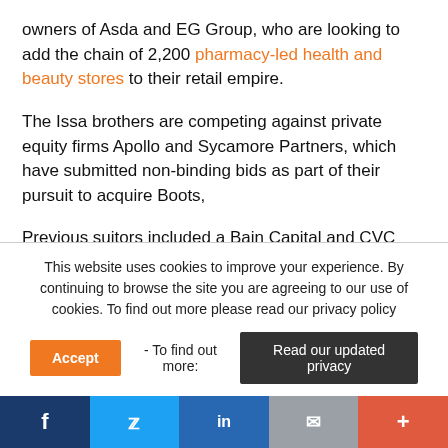owners of Asda and EG Group, who are looking to add the chain of 2,200 pharmacy-led health and beauty stores to their retail empire.
The Issa brothers are competing against private equity firms Apollo and Sycamore Partners, which have submitted non-binding bids as part of their pursuit to acquire Boots,
Previous suitors included a Bain Capital and CVC Capital
This website uses cookies to improve your experience. By continuing to browse the site you are agreeing to our use of cookies. To find out more please read our privacy policy
Accept - To find out more: Read our updated privacy